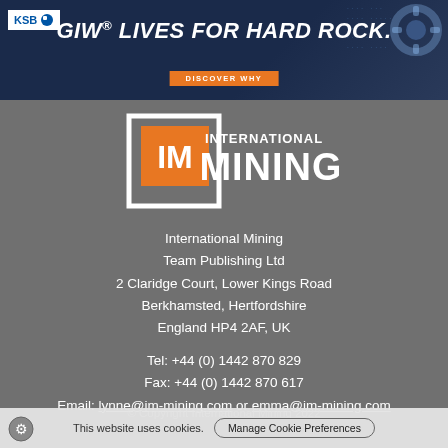[Figure (other): GIW advertisement banner: 'GIW® LIVES FOR HARD ROCK.' with KSB logo, 'DISCOVER WHY' orange button, gear/pump imagery on dark blue background]
[Figure (logo): International Mining logo: orange 'IM' square with white bracket frame, 'INTERNATIONAL MINING' text in white on grey background]
International Mining
Team Publishing Ltd
2 Claridge Court, Lower Kings Road
Berkhamsted, Hertfordshire
England HP4 2AF, UK
Tel: +44 (0) 1442 870 829
Fax: +44 (0) 1442 870 617
Email: lynne@im-mining.com or emma@im-mining.com
© Copyright International Mining 2022
This website uses cookies.